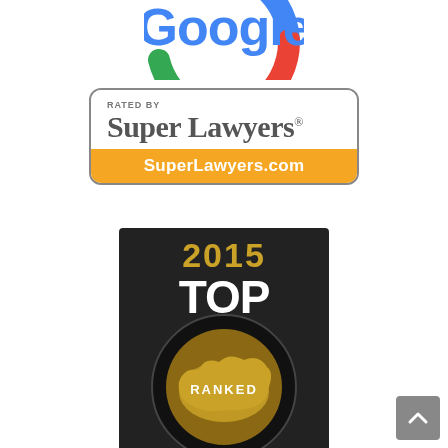[Figure (logo): Partial Google logo showing colorful letters at top of page]
[Figure (logo): Super Lawyers badge with orange bottom bar reading SuperLawyers.com]
[Figure (logo): 2015 Top Ranked Law Firms badge, dark background with gold year, white text, globe graphic, and AV rating logo at bottom]